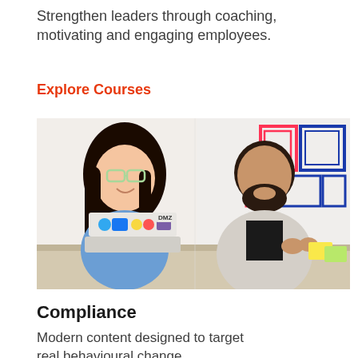Strengthen leaders through coaching, motivating and engaging employees.
Explore Courses
[Figure (photo): Two people sitting at a desk in a co-working space. A woman with glasses and long dark hair on the left is smiling, with a laptop covered in social media stickers in front of her. A bearded man in a light blazer on the right is gesturing with his hands. Colorful artwork is visible in the background.]
Compliance
Modern content designed to target real behavioural change.